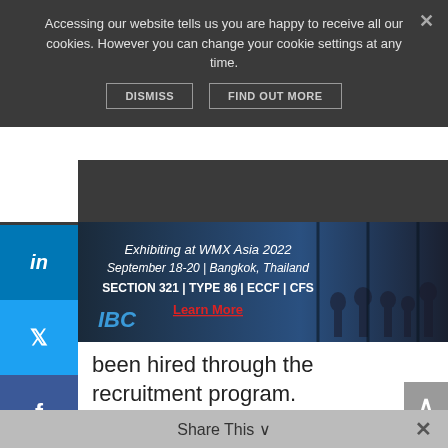Accessing our website tells us you are happy to receive all our cookies. However you can change your cookie settings at any time.
DISMISS   FIND OUT MORE
[Figure (screenshot): IBC advertisement banner for WMX Asia 2022, September 18-20, Bangkok, Thailand. Section 321 | Type 86 | ECCF | CFS. Learn More.]
Menu
been hired through the recruitment program.
The Post has also effected a new corporate structure, signed a new postal banking partner in the form of Banco do Brasil, and has been making progress towards strengthening its air cargo network.
“We have taken several actions to improve